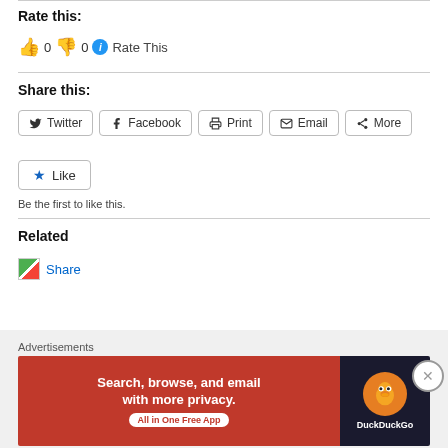Rate this:
👍 0 👎 0 ℹ Rate This
Share this:
Twitter | Facebook | Print | Email | More
★ Like
Be the first to like this.
Related
[Figure (illustration): Share icon placeholder image]
Share
Advertisements
[Figure (screenshot): DuckDuckGo advertisement banner: Search, browse, and email with more privacy. All in One Free App]